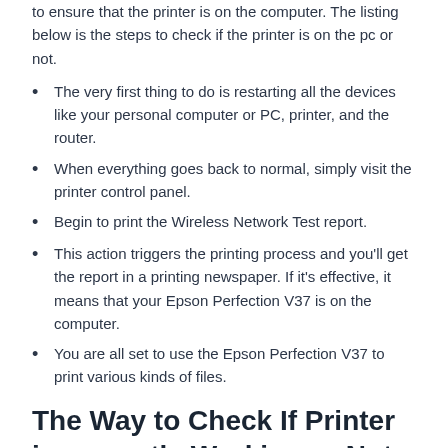to ensure that the printer is on the computer. The listing below is the steps to check if the printer is on the pc or not.
The very first thing to do is restarting all the devices like your personal computer or PC, printer, and the router.
When everything goes back to normal, simply visit the printer control panel.
Begin to print the Wireless Network Test report.
This action triggers the printing process and you'll get the report in a printing newspaper. If it's effective, it means that your Epson Perfection V37 is on the computer.
You are all set to use the Epson Perfection V37 to print various kinds of files.
The Way to Check If Printer is currently Working or Not